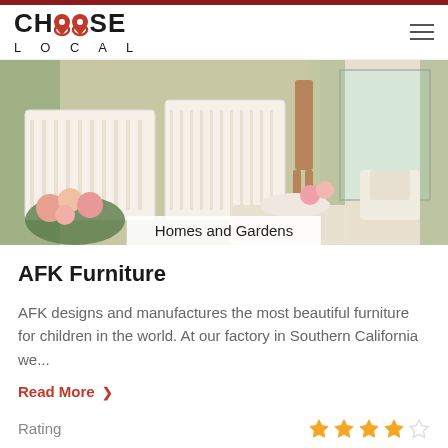[Figure (logo): Choose Local logo with red map pin replacing the two O's in CHOOSE, with LOCAL spelled out below in spaced letters]
[Figure (photo): Interior room photo showing elegant nursery/living room with white cribs, floral arrangements, a giraffe figure, soft furniture, green striped curtains and large windows]
Homes and Gardens
AFK Furniture
AFK designs and manufactures the most beautiful furniture for children in the world. At our factory in Southern California we...
Read More ❯
Rating
[Figure (other): 4 out of 5 star rating display with 4 filled gold stars and 1 empty star]